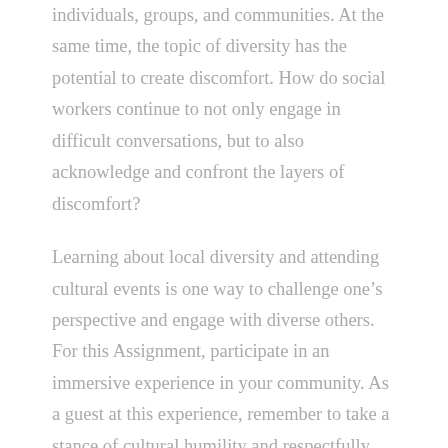individuals, groups, and communities. At the same time, the topic of diversity has the potential to create discomfort. How do social workers continue to not only engage in difficult conversations, but to also acknowledge and confront the layers of discomfort?
Learning about local diversity and attending cultural events is one way to challenge one’s perspective and engage with diverse others. For this Assignment, participate in an immersive experience in your community. As a guest at this experience, remember to take a stance of cultural humility and respectfully participate. You then create a PowerPoint (PPT) presentation about this experience in which you